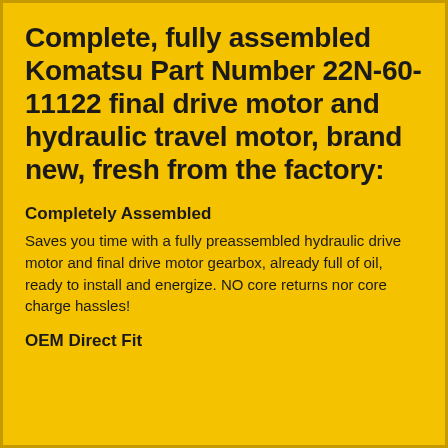Complete, fully assembled Komatsu Part Number 22N-60-11122 final drive motor and hydraulic travel motor, brand new, fresh from the factory:
Completely Assembled
Saves you time with a fully preassembled hydraulic drive motor and final drive motor gearbox, already full of oil, ready to install and energize. NO core returns nor core charge hassles!
OEM Direct Fit